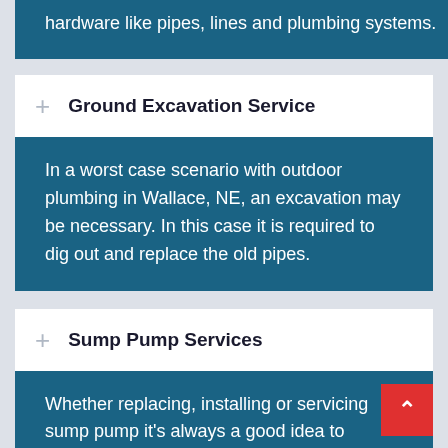hardware like pipes, lines and plumbing systems.
Ground Excavation Service
In a worst case scenario with outdoor plumbing in Wallace, NE, an excavation may be necessary. In this case it is required to dig out and replace the old pipes.
Sump Pump Services
Whether replacing, installing or servicing sump pump it's always a good idea to consult with a plumber in Wallace, NE.